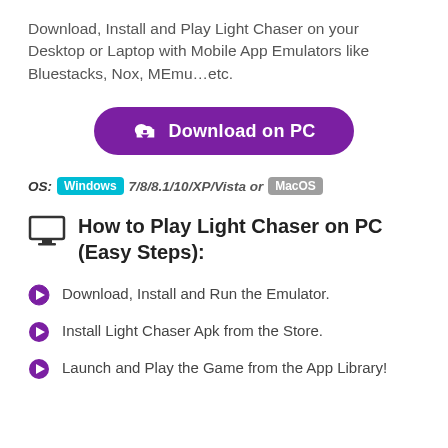Download, Install and Play Light Chaser on your Desktop or Laptop with Mobile App Emulators like Bluestacks, Nox, MEmu…etc.
[Figure (other): Purple 'Download on PC' button with cloud download icon]
OS: Windows 7/8/8.1/10/XP/Vista or MacOS
How to Play Light Chaser on PC (Easy Steps):
Download, Install and Run the Emulator.
Install Light Chaser Apk from the Store.
Launch and Play the Game from the App Library!